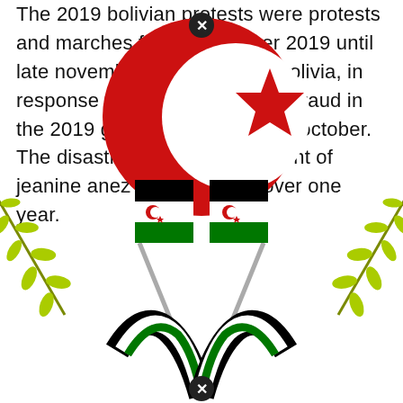The 2019 bolivian protests were protests and marches from 21 october 2019 until late november of that year in bolivia, in response to claims of electoral fraud in the 2019 general election of 20 october. The disastrous coup government of jeanine anez lasted for just over one year.
[Figure (illustration): Emblem/coat of arms featuring a large red crescent and star symbol at top center, two crossed flagpoles bearing Sahrawi Arab Democratic Republic flags (black, white with crescent/star, green horizontal stripes) below, flanked by olive/laurel branches on each side. Two small black close/cancel button icons are overlaid — one near the top center and one at the bottom center.]